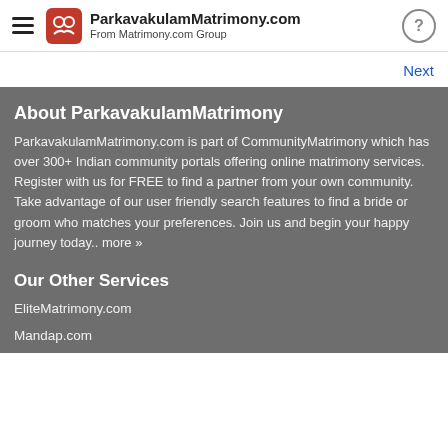ParkavakulamMatrimony.com — From Matrimony.com Group
Next
About ParkavakulamMatrimony
ParkavakulamMatrimony.com is part of CommunityMatrimony which has over 300+ Indian community portals offering online matrimony services. Register with us for FREE to find a partner from your own community. Take advantage of our user friendly search features to find a bride or groom who matches your preferences. Join us and begin your happy journey today.. more »
Our Other Services
EliteMatrimony.com
Mandap.com